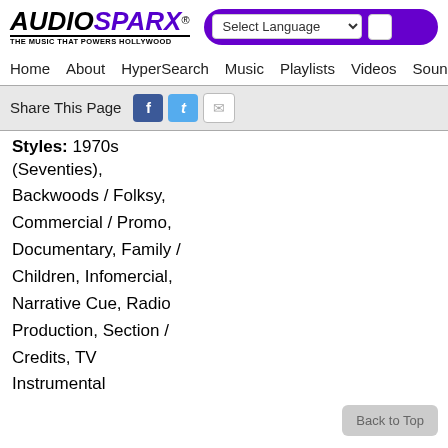[Figure (logo): AudioSparx logo with tagline 'THE MUSIC THAT POWERS HOLLYWOOD']
Select Language | Search
Home   About   HyperSearch   Music   Playlists   Videos   Sound
Share This Page
Styles: 1970s (Seventies), Backwoods / Folksy, Commercial / Promo, Documentary, Family / Children, Infomercial, Narrative Cue, Radio Production, Section / Credits, TV Instrumental